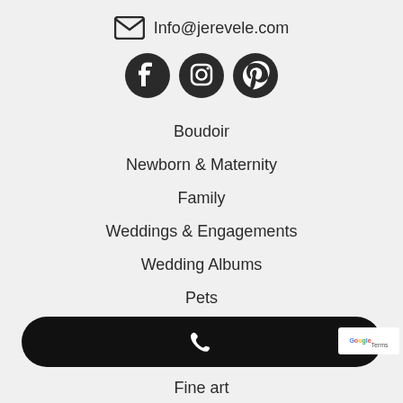Info@jerevele.com
[Figure (illustration): Social media icons: Facebook, Instagram, Pinterest]
Boudoir
Newborn & Maternity
Family
Weddings & Engagements
Wedding Albums
Pets
Commercial
[Figure (illustration): Black pill-shaped navigation bar with phone icon]
Fine art